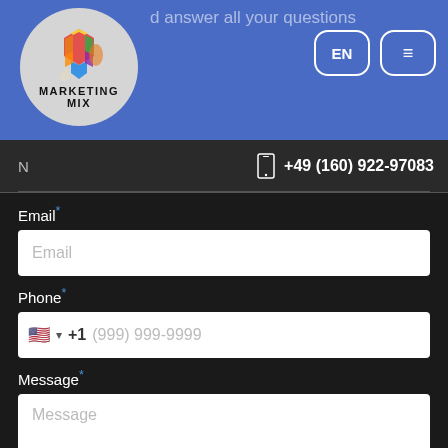[Figure (screenshot): Marketing Mix logo — colorful geometric elephant shape in circle with 'MARKETING MIX' text below]
d answer all your questions
EN
≡
+49 (160) 922-97083
N
Email *
Email (placeholder)
Phone *
+1  (999) 999-9999
Message *
Message (placeholder)